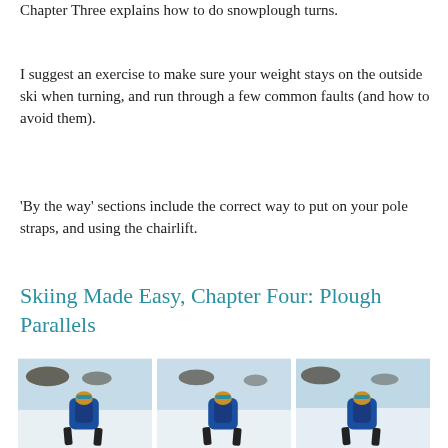Chapter Three explains how to do snowplough turns.
I suggest an exercise to make sure your weight stays on the outside ski when turning, and run through a few common faults (and how to avoid them).
'By the way' sections include the correct way to put on your pole straps, and using the chairlift.
Skiing Made Easy, Chapter Four: Plough Parallels
[Figure (photo): Three side-by-side photos of a skier in a blue jacket and backpack skiing on a snowy slope, viewed from behind.]